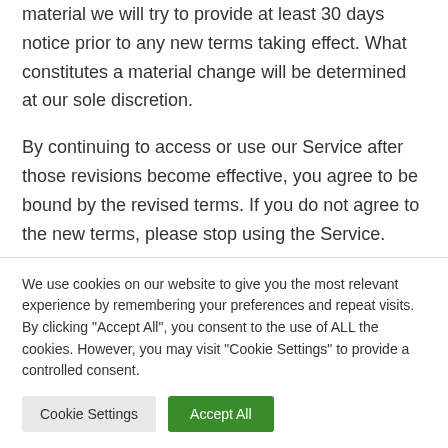material we will try to provide at least 30 days notice prior to any new terms taking effect. What constitutes a material change will be determined at our sole discretion.
By continuing to access or use our Service after those revisions become effective, you agree to be bound by the revised terms. If you do not agree to the new terms, please stop using the Service.
Contact Us
We use cookies on our website to give you the most relevant experience by remembering your preferences and repeat visits. By clicking "Accept All", you consent to the use of ALL the cookies. However, you may visit "Cookie Settings" to provide a controlled consent.